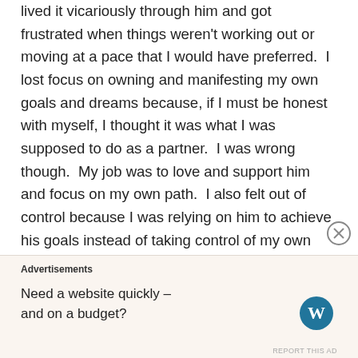lived it vicariously through him and got frustrated when things weren't working out or moving at a pace that I would have preferred.  I lost focus on owning and manifesting my own goals and dreams because, if I must be honest with myself, I thought it was what I was supposed to do as a partner.  I was wrong though.  My job was to love and support him and focus on my own path.  I also felt out of control because I was relying on him to achieve his goals instead of taking control of my own life. I have set myself back quite a bit so I am grateful that I now have the space to refocus.  There is so much I want to achieve.
Advertisements
Need a website quickly – and on a budget?